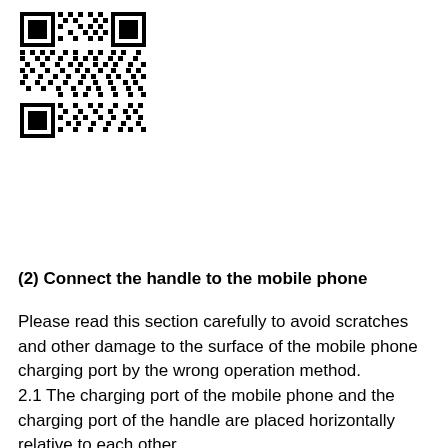[Figure (other): QR code image in the top-left corner of the page]
(2) Connect the handle to the mobile phone
Please read this section carefully to avoid scratches and other damage to the surface of the mobile phone charging port by the wrong operation method.
2.1 The charging port of the mobile phone and the charging port of the handle are placed horizontally relative to each other.